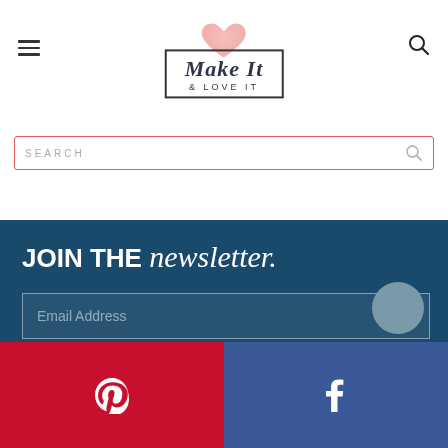[Figure (logo): Make It & Love It blog logo with heart graphic above text in a rectangular border]
[Figure (screenshot): Search bar with red border and search icon, placeholder text SEARCH]
JOIN THE newsletter.
[Figure (screenshot): Email Address input field on dark blue background]
[Figure (screenshot): Social share bar with Pinterest (red) and Facebook (blue) buttons at bottom]